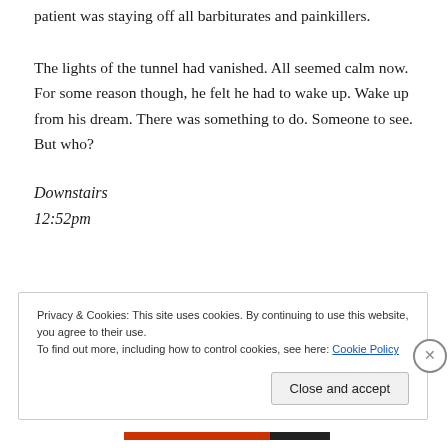patient was staying off all barbiturates and painkillers.
The lights of the tunnel had vanished. All seemed calm now. For some reason though, he felt he had to wake up. Wake up from his dream. There was something to do. Someone to see. But who?
Downstairs
12:52pm
Privacy & Cookies: This site uses cookies. By continuing to use this website, you agree to their use.
To find out more, including how to control cookies, see here: Cookie Policy